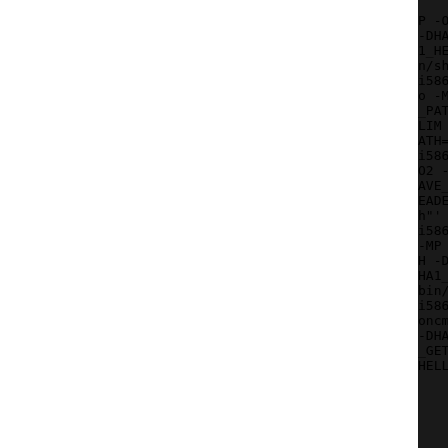[Figure (screenshot): Terminal/console output showing compiler commands for i586-pld-linux-gcc with various flags including -O2 -march=i586 -DHAVE_STRINGS_H -DHAVE_DEV_T -DSHA1_HEADER and source files usage.c, userdiff.c, utf8.c, varint.c, versioncmp.c]